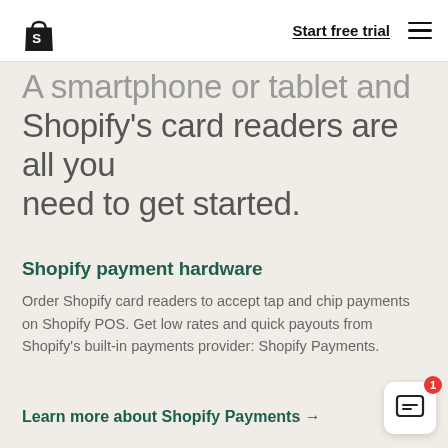Start free trial
A smartphone or tablet and Shopify's card readers are all you need to get started.
Shopify payment hardware
Order Shopify card readers to accept tap and chip payments on Shopify POS. Get low rates and quick payouts from Shopify's built-in payments provider: Shopify Payments.
Learn more about Shopify Payments →